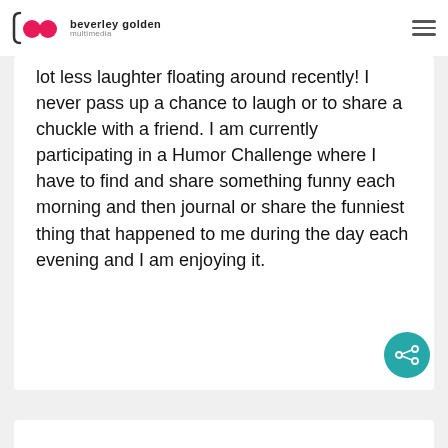[Figure (logo): Beverley Golden multimedia logo with pink circles and text]
lot less laughter floating around recently! I never pass up a chance to laugh or to share a chuckle with a friend. I am currently participating in a Humor Challenge where I have to find and share something funny each morning and then journal or share the funniest thing that happened to me during the day each evening and I am enjoying it.
Rachel Lavern recently posted...5 Main Mindset Changes for Entrepreneurs â Part 2
Reply